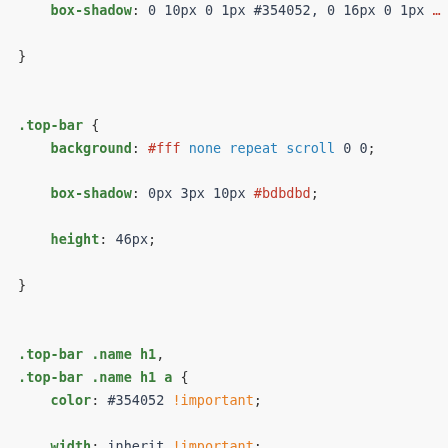box-shadow: 0 10px 0 1px #354052, 0 16px 0 1px ...
}
.top-bar {
    background: #fff none repeat scroll 0 0;
    box-shadow: 0px 3px 10px #bdbdbd;
    height: 46px;
}
.top-bar .name h1,
.top-bar .name h1 a {
    color: #354052 !important;
    width: inherit !important;
}
.top-bar-section li a:not(.button) {
    background: #fff none repeat scroll 0 0;
    color: #fff;